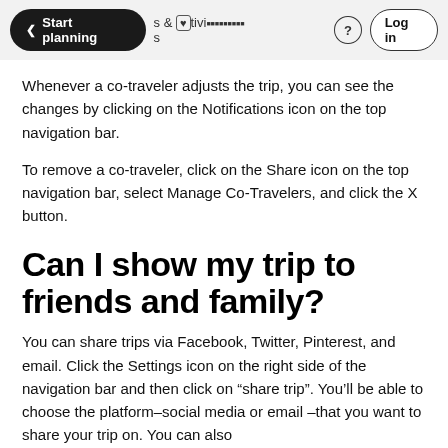Start planning & Activities ? Log in
Whenever a co-traveler adjusts the trip, you can see the changes by clicking on the Notifications icon on the top navigation bar.
To remove a co-traveler, click on the Share icon on the top navigation bar, select Manage Co-Travelers, and click the X button.
Can I show my trip to friends and family?
You can share trips via Facebook, Twitter, Pinterest, and email. Click the Settings icon on the right side of the navigation bar and then click on “share trip”. You’ll be able to choose the platform–social media or email–that you want to share your trip on. You can also